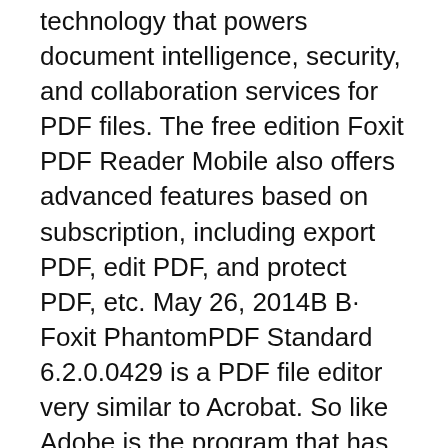technology that powers document intelligence, security, and collaboration services for PDF files. The free edition Foxit PDF Reader Mobile also offers advanced features based on subscription, including export PDF, edit PDF, and protect PDF, etc. May 26, 2014B B· Foxit PhantomPDF Standard 6.2.0.0429 is a PDF file editor very similar to Acrobat. So like Adobe is the program that has practically the same structure of menus and icon bars. Moreover, Foxit PhantomPDF is cheaper, lighter and more enjoyable to watch.
Jan 23, 2020B B· Foxit PhantomPDF Business 9.7.1 Build 29511 Crack Activation Key 2020. Foxit PhantomPDF